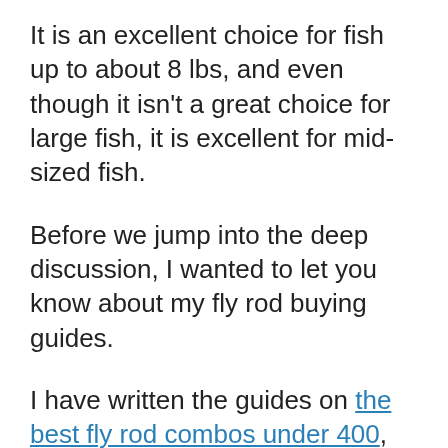It is an excellent choice for fish up to about 8 lbs, and even though it isn't a great choice for large fish, it is excellent for mid-sized fish.
Before we jump into the deep discussion, I wanted to let you know about my fly rod buying guides.
I have written the guides on the best fly rod combos under 400, best fly rods under the $500 list, the best fly rod & outfits under 300, and the best fly rod for under $200 reviews that will also help you make the right